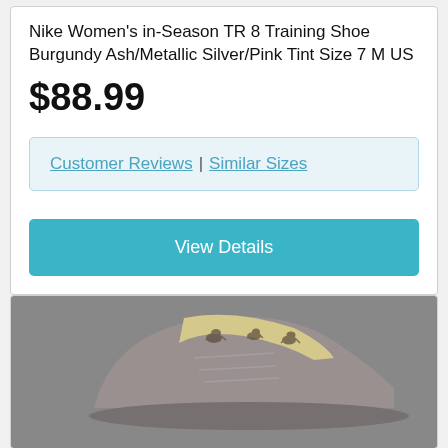Nike Women's in-Season TR 8 Training Shoe Burgundy Ash/Metallic Silver/Pink Tint Size 7 M US
$88.99
Customer Reviews | Similar Sizes
View Details
[Figure (photo): Partial view of a grey casual shoe with animal print interior lining showing cats/leopards on a light background]